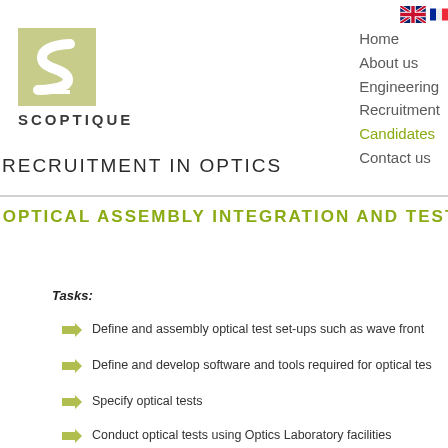[Figure (logo): Scoptique company logo - olive/khaki square with stylized S shape, company name SCOPTIQUE below]
Home
About us
Engineering
Recruitment
Candidates
Contact us
RECRUITMENT IN OPTICS
OPTICAL ASSEMBLY INTEGRATION AND TEST
Tasks:
Define and assembly optical test set-ups such as wave front
Define and develop software and tools required for optical tes
Specify optical tests
Conduct optical tests using Optics Laboratory facilities